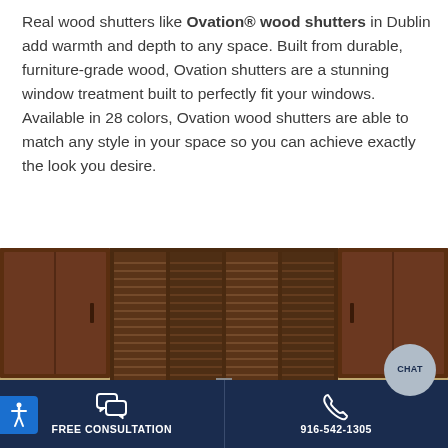Real wood shutters like Ovation® wood shutters in Dublin add warmth and depth to any space. Built from durable, furniture-grade wood, Ovation shutters are a stunning window treatment built to perfectly fit your windows. Available in 28 colors, Ovation wood shutters are able to match any style in your space so you can achieve exactly the look you desire.
[Figure (photo): Photo of dark wood shutters installed in a kitchen window between dark wood cabinets, with decorative tile backsplash visible. The shutters are partially open showing horizontal louvers.]
FREE CONSULTATION | 916-542-1305 | CHAT